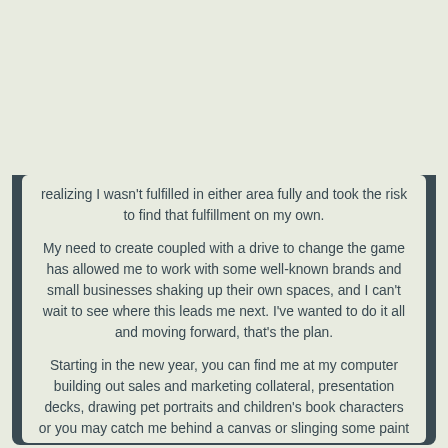ijoys h as l my ter
realizing I wasn't fulfilled in either area fully and took the risk to find that fulfillment on my own.

My need to create coupled with a drive to change the game has allowed me to work with some well-known brands and small businesses shaking up their own spaces, and I can't wait to see where this leads me next. I've wanted to do it all and moving forward, that's the plan.

Starting in the new year, you can find me at my computer building out sales and marketing collateral, presentation decks, drawing pet portraits and children's book characters or you may catch me behind a canvas or slinging some paint on a wall somewhere. Either place, I'm working on something great for a client just like you!